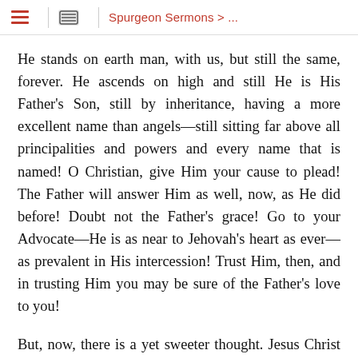Spurgeon Sermons > ...
He stands on earth man, with us, but still the same, forever. He ascends on high and still He is His Father's Son, still by inheritance, having a more excellent name than angels—still sitting far above all principalities and powers and every name that is named! O Christian, give Him your cause to plead! The Father will answer Him as well, now, as He did before! Doubt not the Father's grace! Go to your Advocate—He is as near to Jehovah's heart as ever—as prevalent in His intercession! Trust Him, then, and in trusting Him you may be sure of the Father's love to you!
But, now, there is a yet sweeter thought. Jesus Christ is the same to His people as ever. We have delighted in our happier moments, in days that have rolled away, to think of Him that loved us when we had no